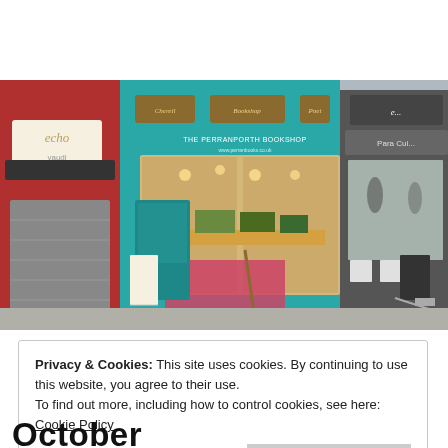[Figure (photo): Street-level photo of a teal/turquoise-painted bookshop storefront (The Perranporth Bookshop) flanked by a red building on the left and a grey cafe with awning on the right. Display tables with books visible through large windows.]
Privacy & Cookies: This site uses cookies. By continuing to use this website, you agree to their use.
To find out more, including how to control cookies, see here: Cookie Policy
Close and accept
October